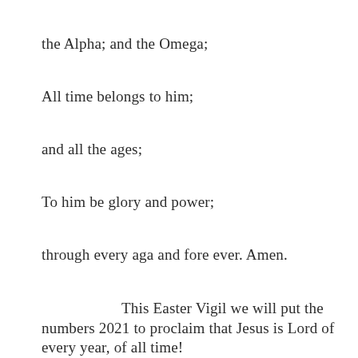the Alpha; and the Omega;
All time belongs to him;
and all the ages;
To him be glory and power;
through every aga and fore ever. Amen.
This Easter Vigil we will put the numbers 2021 to proclaim that Jesus is Lord of every year, of all time!